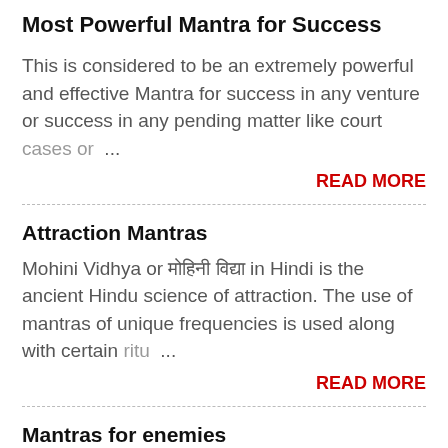Most Powerful Mantra for Success
This is considered to be an extremely powerful and effective Mantra for success in any venture or success in any pending matter like court cases or …
READ MORE
Attraction Mantras
Mohini Vidhya or मोहिनी विद्या in Hindi is the ancient Hindu science of attraction. The use of mantras of unique frequencies is used along with certain ritu …
READ MORE
Mantras for enemies